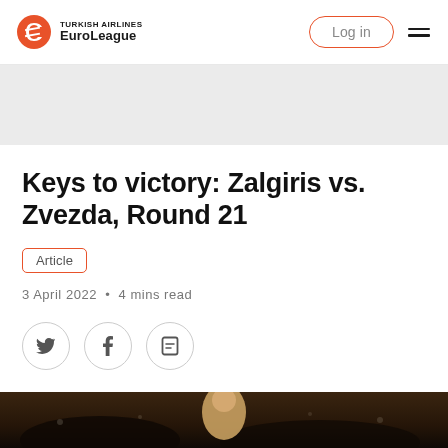TURKISH AIRLINES EuroLeague — Log in
Keys to victory: Zalgiris vs. Zvezda, Round 21
Article
3 April 2022 • 4 mins read
[Figure (other): Social sharing icons: Twitter, Facebook, and bookmark/share button in circular outlines]
[Figure (photo): Bottom strip showing a basketball game photo with a player visible against a dark arena crowd background]